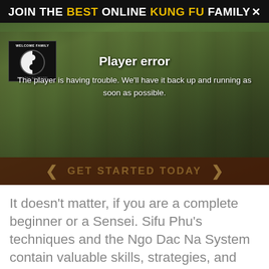JOIN THE BEST ONLINE KUNG FU FAMILY ×
[Figure (photo): Group photo of martial arts students and instructor outdoors with trees in background. A 'Welcome Family' banner with yin-yang symbol is visible on the left. A video player error overlay shows 'Player error' and message 'The player is having trouble. We'll have it back up and running as soon as possible.' At the bottom a 'GET STARTED TODAY' bar with arrow chevrons.]
It doesn't matter, if you are a complete beginner or a Sensei. Sifu Phu's techniques and the Ngo Dac Na System contain valuable skills, strategies, and techniques that can help you become a better martial artist, teacher and more.